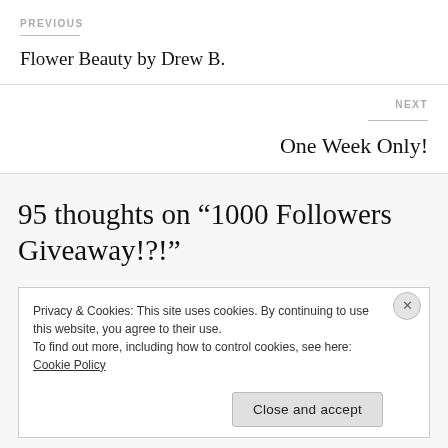PREVIOUS
Flower Beauty by Drew B.
NEXT
One Week Only!
95 thoughts on “1000 Followers Giveaway!?!”
Privacy & Cookies: This site uses cookies. By continuing to use this website, you agree to their use.
To find out more, including how to control cookies, see here: Cookie Policy
Close and accept